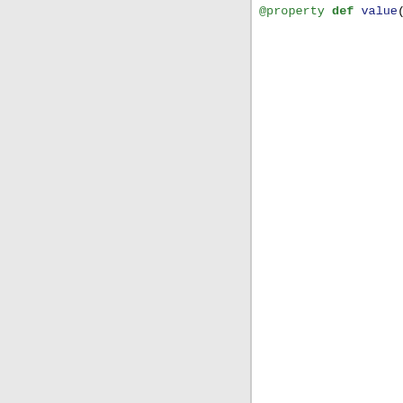[Figure (screenshot): Left panel showing a gray sidebar area, right panel showing Python source code with syntax highlighting. Code shows a @property decorator, value method, and unpersist method with docstrings and logic.]